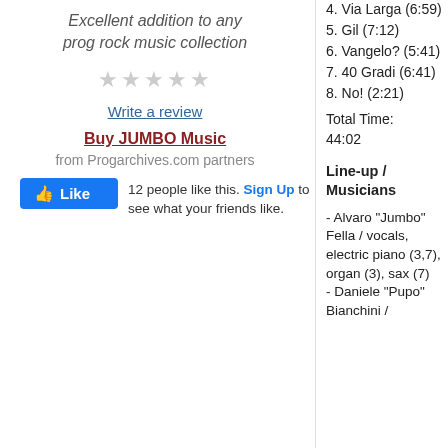Excellent addition to any prog rock music collection
★★★★★ (empty stars)
Write a review
Buy JUMBO Music
from Progarchives.com partners
👍 Like   12 people like this. Sign Up to see what your friends like.
4. Via Larga (6:59)
5. Gil (7:12)
6. Vangelo? (5:41)
7. 40 Gradi (6:41)
8. No! (2:21)
Total Time: 44:02
Line-up / Musicians
- Alvaro "Jumbo" Fella / vocals, electric piano (3,7), organ (3), sax (7)
- Daniele "Pupo" Bianchini /